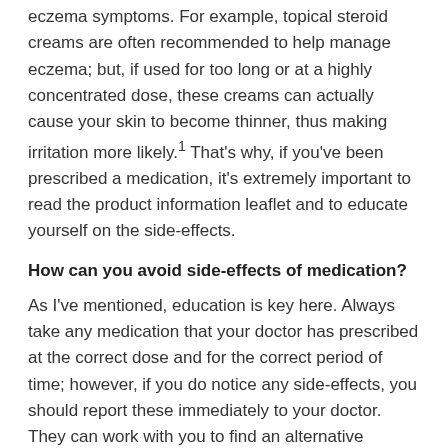eczema symptoms. For example, topical steroid creams are often recommended to help manage eczema; but, if used for too long or at a highly concentrated dose, these creams can actually cause your skin to become thinner, thus making irritation more likely.¹ That's why, if you've been prescribed a medication, it's extremely important to read the product information leaflet and to educate yourself on the side-effects.
How can you avoid side-effects of medication?
As I've mentioned, education is key here. Always take any medication that your doctor has prescribed at the correct dose and for the correct period of time; however, if you do notice any side-effects, you should report these immediately to your doctor. They can work with you to find an alternative medication that shouldn't produce this result.
5. Skincare routine